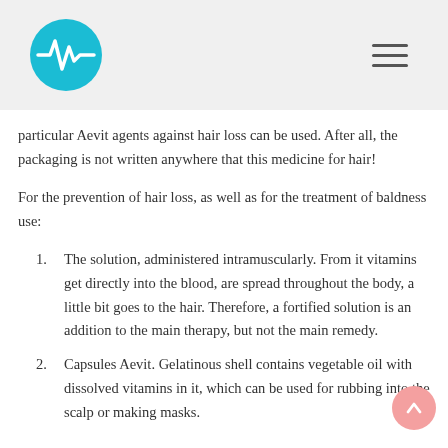[Logo: teal circle with heartbeat waveform icon] [Hamburger menu icon]
particular Aevit agents against hair loss can be used. After all, the packaging is not written anywhere that this medicine for hair!
For the prevention of hair loss, as well as for the treatment of baldness use:
1. The solution, administered intramuscularly. From it vitamins get directly into the blood, are spread throughout the body, a little bit goes to the hair. Therefore, a fortified solution is an addition to the main therapy, but not the main remedy.
2. Capsules Aevit. Gelatinous shell contains vegetable oil with dissolved vitamins in it, which can be used for rubbing into the scalp or making masks.